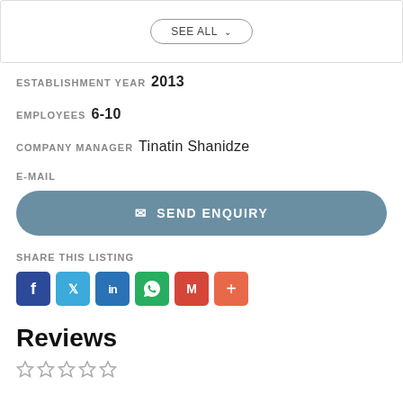SEE ALL
ESTABLISHMENT YEAR 2013
EMPLOYEES 6-10
COMPANY MANAGER Tinatin Shanidze
E-MAIL
SEND ENQUIRY
SHARE THIS LISTING
Reviews